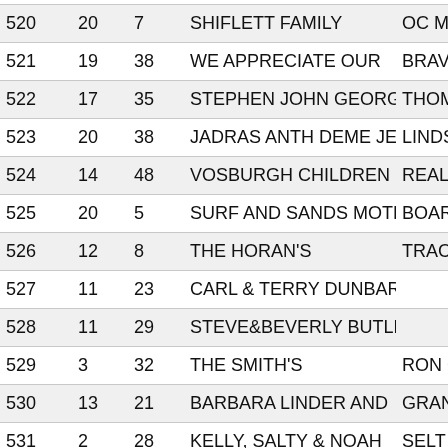|  |  |  |  |  |
| --- | --- | --- | --- | --- |
| 520 | 20 | 7 | SHIFLETT FAMILY | OC MEMOR |
| 521 | 19 | 38 | WE APPRECIATE OUR | BRAVE FIRE |
| 522 | 17 | 35 | STEPHEN JOHN GEORGE | THOMAS FI |
| 523 | 20 | 38 | JADRAS ANTH DEME JEN | LINDSEY NI |
| 524 | 14 | 48 | VOSBURGH CHILDREN | REALTY |
| 525 | 20 | 5 | SURF AND SANDS MOTEL | BOARDWAL |
| 526 | 12 | 8 | THE HORAN'S | TRACEY-ED |
| 527 | 11 | 23 | CARL & TERRY DUNBAR |  |
| 528 | 11 | 29 | STEVE&BEVERLY BUTLER |  |
| 529 | 3 | 32 | THE SMITH'S | RON CAROL |
| 530 | 13 | 21 | BARBARA LINDER AND | GRANDDAL |
| 531 | 2 | 28 | KELLY, SALTY & NOAH | SELT |
| 532 | 5 | 29 | ENDLESS SUMMER | SURF SHOP |
| 533 | 21 | 10 | IN MEMORY | ROBERT M |
| 534 | 10 | 33 | THE DENHARD FAMILY |  |